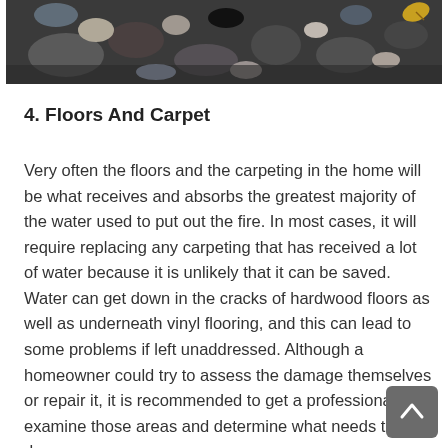[Figure (photo): A photo showing burned debris, rocks, ash, and charred organic material with a yellow leaf visible in the upper right.]
4. Floors And Carpet
Very often the floors and the carpeting in the home will be what receives and absorbs the greatest majority of the water used to put out the fire. In most cases, it will require replacing any carpeting that has received a lot of water because it is unlikely that it can be saved. Water can get down in the cracks of hardwood floors as well as underneath vinyl flooring, and this can lead to some problems if left unaddressed. Although a homeowner could try to assess the damage themselves or repair it, it is recommended to get a professional to examine those areas and determine what needs to be done.